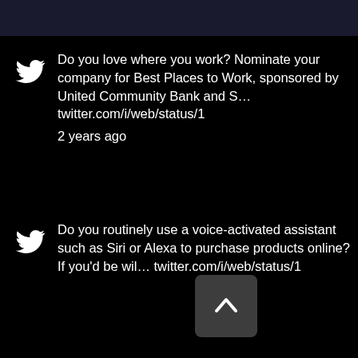[Figure (screenshot): Dark top navigation bar of a social media interface]
Do you love where you work? Nominate your company for Best Places to Work, sponsored by United Community Bank and S… twitter.com/i/web/status/1 2 years ago
Do you routinely use a voice-activated assistant such as Siri or Alexa to purchase products online? If you'd be wil… twitter.com/i/web/status/1